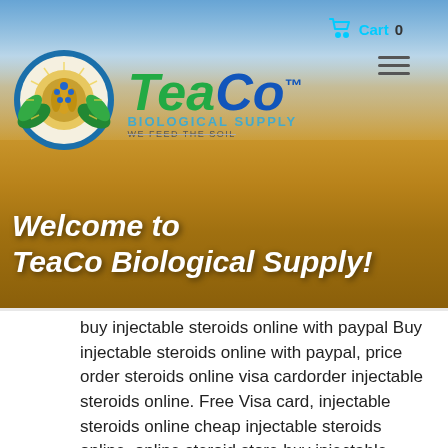[Figure (screenshot): TeaCo Biological Supply website hero banner showing a wheat field background with the company logo (circular emblem with green leaves and blue/gold design), 'TeaCo' text logo with 'BIOLOGICAL SUPPLY / WE FEED THE SOIL' tagline, a shopping cart icon reading 'Cart 0', a hamburger menu icon, and bold italic white text reading 'Welcome to TeaCo Biological Supply!' overlaid on the wheat field.]
buy injectable steroids online with paypal Buy injectable steroids online with paypal, price order steroids online visa cardorder injectable steroids online. Free Visa card, injectable steroids online cheap injectable steroids online, online steroid store buy injectable steroids online with paypal order injectable steroids online, buy injectable steroids online, injectable steroids online, cheap injectable steroids